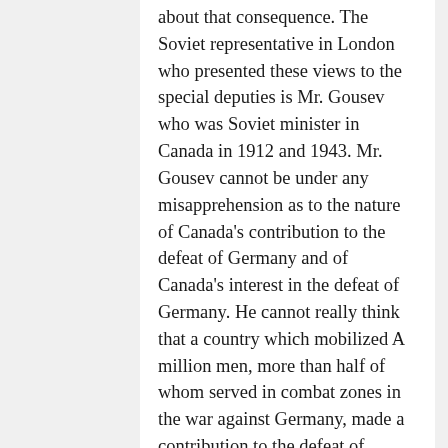about that consequence. The Soviet representative in London who presented these views to the special deputies is Mr. Gousev who was Soviet minister in Canada in 1912 and 1943. Mr. Gousev cannot be under any misapprehension as to the nature of Canada's contribution to the defeat of Germany and of Canada's interest in the defeat of Germany. He cannot really think that a country which mobilized A million men, more than half of whom served in combat zones in the war against Germany, made a contribution to the defeat of Germany of less consequence than the war effort of Albania and of Luxembourg. He, of all people in the Soviet administration, is in